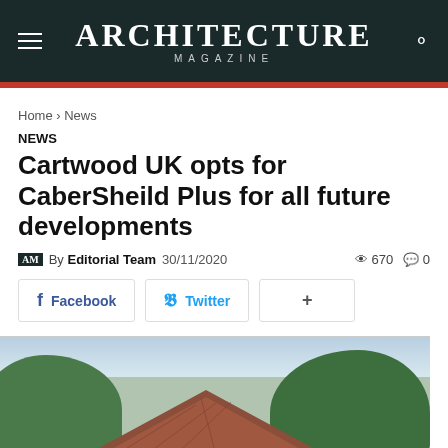ARCHITECTURE MAGAZINE
Home › News
NEWS
Cartwood UK opts for CaberSheild Plus for all future developments
AM By Editorial Team 30/11/2020 👁 670 💬 0
Facebook  Twitter  +
[Figure (photo): Exterior photo of a building with a tiled roof and trees in the background]